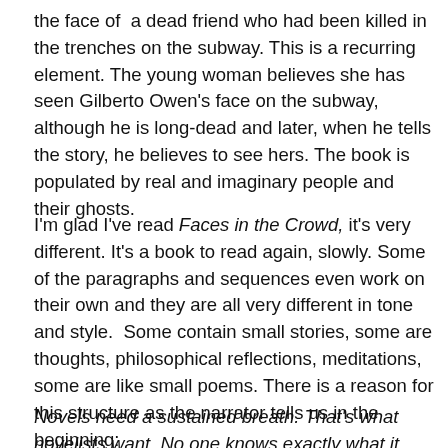the face of  a dead friend who had been killed in the trenches on the subway. This is a recurring element. The young woman believes she has seen Gilberto Owen's face on the subway, although he is long-dead and later, when he tells the story, he believes to see hers. The book is populated by real and imaginary people and their ghosts.
I'm glad I've read Faces in the Crowd, it's very different. It's a book to read again, slowly. Some of the paragraphs and sequences even work on their own and they are all very different in tone and style.  Some contain small stories, some are thoughts, philosophical reflections, meditations, some are like small poems. There is a reason for this structure as the narrator tells us in the beginning:
Novels need a sustained breath. That's what novelists want. No one knows exactly what it means but they all